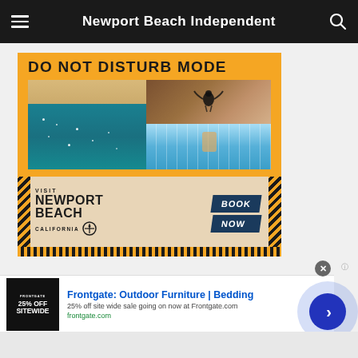Newport Beach Independent
[Figure (illustration): Advertisement for Visit Newport Beach California with 'DO NOT DISTURB MODE' headline, aerial beach photo and pool photo, with 'BOOK NOW' button on yellow/gold background with black stripe border]
[Figure (illustration): Frontgate advertisement: Outdoor Furniture | Bedding. 25% off site wide sale going on now at Frontgate.com. frontgate.com]